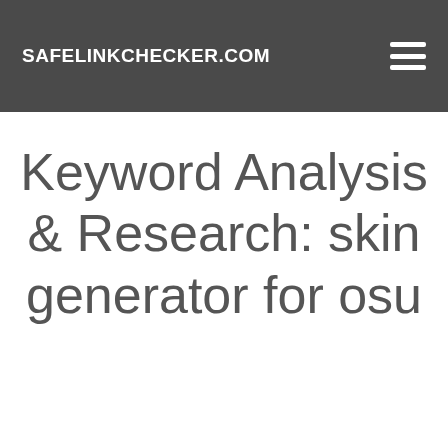SAFELINKCHECKER.COM
Keyword Analysis & Research: skin generator for osu